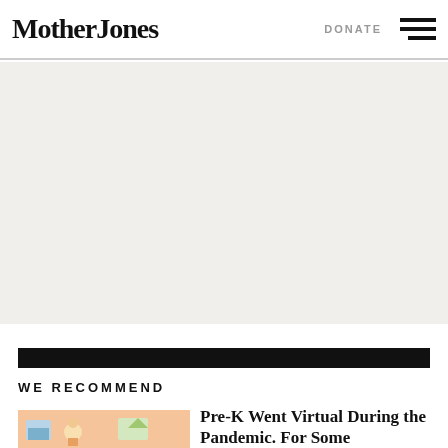Mother Jones
[Figure (other): Large light gray advertisement/banner placeholder area]
WE RECOMMEND
[Figure (illustration): Thumbnail illustration for Pre-K virtual during pandemic article]
Pre-K Went Virtual During the Pandemic. For Some...